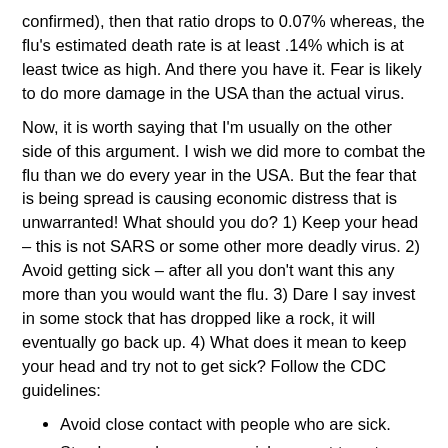confirmed), then that ratio drops to 0.07% whereas, the flu's estimated death rate is at least .14% which is at least twice as high. And there you have it. Fear is likely to do more damage in the USA than the actual virus.
Now, it is worth saying that I'm usually on the other side of this argument. I wish we did more to combat the flu than we do every year in the USA. But the fear that is being spread is causing economic distress that is unwarranted! What should you do? 1) Keep your head – this is not SARS or some other more deadly virus. 2) Avoid getting sick – after all you don't want this any more than you would want the flu. 3) Dare I say invest in some stock that has dropped like a rock, it will eventually go back up. 4) What does it mean to keep your head and try not to get sick? Follow the CDC guidelines:
Avoid close contact with people who are sick.
Stay home when you are sick, except to get medical care. (My addition: If you are sick and need to go to the doctor, let them know you are coming in sick and ask them how you should proceed. They may send you to a special location that can test for COVID-19)
Cover your coughs and sneezes with a tissue.